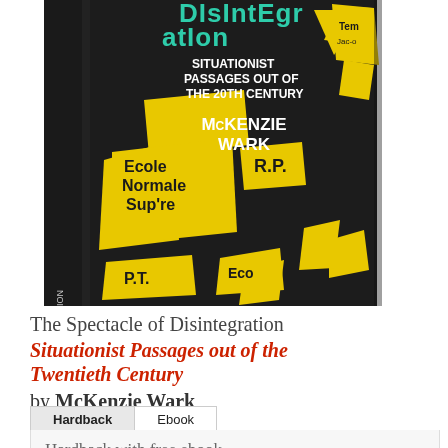[Figure (photo): Book cover of 'The Spectacle of Disintegration: Situationist Passages out of the 20th Century' by McKenzie Wark. Dark/black cover with yellow geometric shapes and text collage. Teal/green title text visible at top.]
The Spectacle of Disintegration Situationist Passages out of the Twentieth Century by McKenzie Wark
Hardback | Ebook
Hardback with free ebook
$26.95  $16.17  40% off